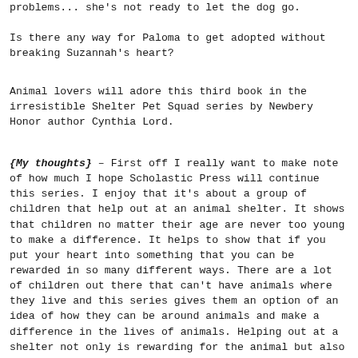problems... she's not ready to let the dog go.
Is there any way for Paloma to get adopted without breaking Suzannah's heart?
Animal lovers will adore this third book in the irresistible Shelter Pet Squad series by Newbery Honor author Cynthia Lord.
{My thoughts} – First off I really want to make note of how much I hope Scholastic Press will continue this series. I enjoy that it's about a group of children that help out at an animal shelter. It shows that children no matter their age are never too young to make a difference. It helps to show that if you put your heart into something that you can be rewarded in so many different ways. There are a lot of children out there that can't have animals where they live and this series gives them an option of an idea of how they can be around animals and make a difference in the lives of animals. Helping out at a shelter not only is rewarding for the animal but also for the pets involved. Every living creature deserves the feeling of safety and love. This series also gives step by step